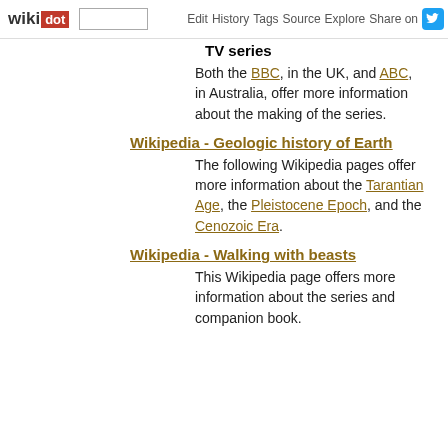wikidot | site | Edit | History | Tags | Source | Explore | Share on [Twitter]
TV series
Both the BBC, in the UK, and ABC, in Australia, offer more information about the making of the series.
Wikipedia - Geologic history of Earth
The following Wikipedia pages offer more information about the Tarantian Age, the Pleistocene Epoch, and the Cenozoic Era.
Wikipedia - Walking with beasts
This Wikipedia page offers more information about the series and companion book.